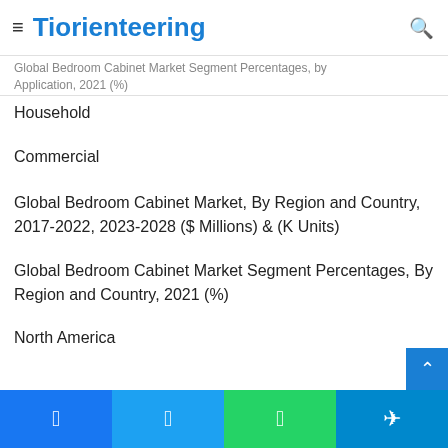≡ Tiorienteering 🔍
Global Bedroom Cabinet Market Segment Percentages, by Application, 2021 (%)
Household
Commercial
Global Bedroom Cabinet Market, By Region and Country, 2017-2022, 2023-2028 ($ Millions) & (K Units)
Global Bedroom Cabinet Market Segment Percentages, By Region and Country, 2021 (%)
North America